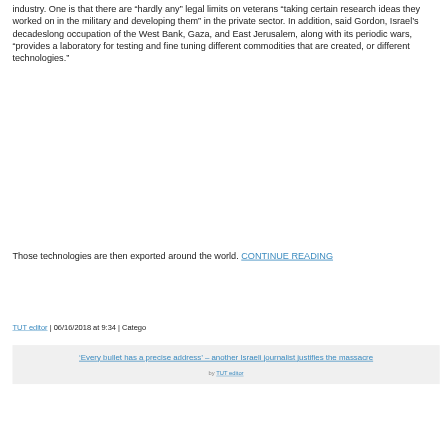industry. One is that there are “hardly any” legal limits on veterans “taking certain research ideas they worked on in the military and developing them” in the private sector. In addition, said Gordon, Israel’s decadeslong occupation of the West Bank, Gaza, and East Jerusalem, along with its periodic wars, “provides a laboratory for testing and fine tuning different commodities that are created, or different technologies.”
Those technologies are then exported around the world. CONTINUE READING
TUT editor | 06/16/2018 at 9:34 | Catego
‘Every bullet has a precise address’ – another Israeli journalist justifies the massacre
by TUT editor